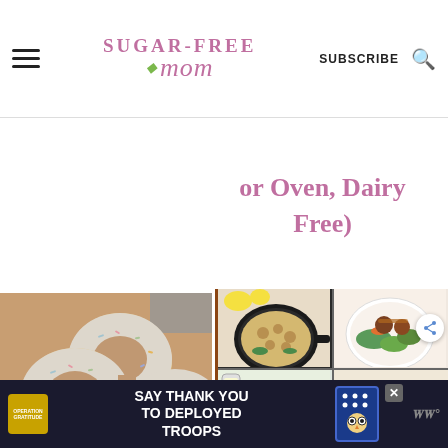Sugar-Free Mom — SUBSCRIBE [search icon]
or Oven, Dairy Free)
[Figure (photo): Three white-frosted donuts with colorful sprinkles on a wooden board]
[Figure (photo): Grid of four food photos: cast iron skillet with creamy dish, plate with meatballs and vegetables, salad bowl, flatbread pizza with greens]
[Figure (photo): Advertisement banner: Operation Gratitude - Say Thank You to Deployed Troops]